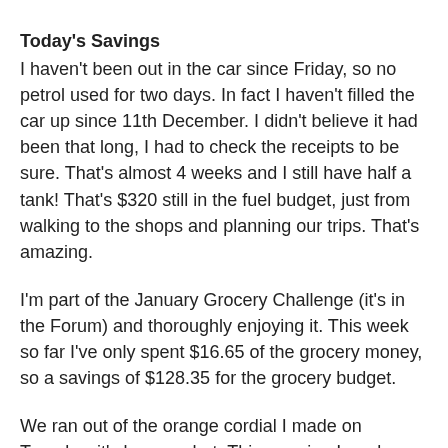Today's Savings
I haven't been out in the car since Friday, so no petrol used for two days. In fact I haven't filled the car up since 11th December. I didn't believe it had been that long, I had to check the receipts to be sure. That's almost 4 weeks and I still have half a tank! That's $320 still in the fuel budget, just from walking to the shops and planning our trips. That's amazing.
I'm part of the January Grocery Challenge (it's in the Forum) and thoroughly enjoying it. This week so far I've only spent $16.65 of the grocery money, so a savings of $128.35 for the grocery budget.
We ran out of the orange cordial I made on Tuesday, it's been so hot. This morning I made some Magic Cordial instead of putting it on the shopping list. Saving of $1.69 on not buying cordial and using what we have at hand. And it's better for the kids too.
I found some carrots hiding in the back of the fridge so I